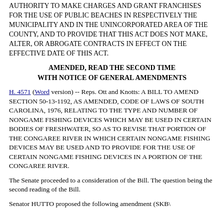AUTHORITY TO MAKE CHARGES AND GRANT FRANCHISES FOR THE USE OF PUBLIC BEACHES IN RESPECTIVELY THE MUNICIPALITY AND IN THE UNINCORPORATED AREA OF THE COUNTY, AND TO PROVIDE THAT THIS ACT DOES NOT MAKE, ALTER, OR ABROGATE CONTRACTS IN EFFECT ON THE EFFECTIVE DATE OF THIS ACT.
AMENDED, READ THE SECOND TIME WITH NOTICE OF GENERAL AMENDMENTS
H. 4571 (Word version) -- Reps. Ott and Knotts: A BILL TO AMEND SECTION 50-13-1192, AS AMENDED, CODE OF LAWS OF SOUTH CAROLINA, 1976, RELATING TO THE TYPE AND NUMBER OF NONGAME FISHING DEVICES WHICH MAY BE USED IN CERTAIN BODIES OF FRESHWATER, SO AS TO REVISE THAT PORTION OF THE CONGAREE RIVER IN WHICH CERTAIN NONGAME FISHING DEVICES MAY BE USED AND TO PROVIDE FOR THE USE OF CERTAIN NONGAME FISHING DEVICES IN A PORTION OF THE CONGAREE RIVER.
The Senate proceeded to a consideration of the Bill. The question being the second reading of the Bill.
Senator HUTTO proposed the following amendment (SKB\